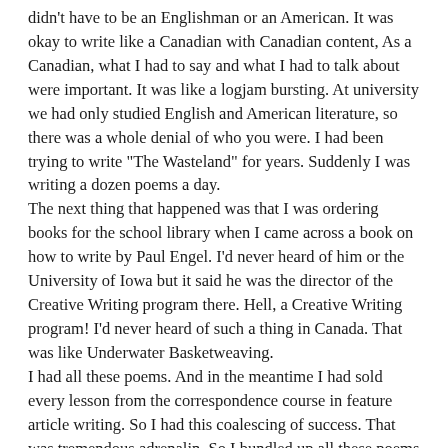didn't have to be an Englishman or an American. It was okay to write like a Canadian with Canadian content, As a Canadian, what I had to say and what I had to talk about were important. It was like a logjam bursting. At university we had only studied English and American literature, so there was a whole denial of who you were. I had been trying to write "The Wasteland" for years. Suddenly I was writing a dozen poems a day.
The next thing that happened was that I was ordering books for the school library when I came across a book on how to write by Paul Engel. I'd never heard of him or the University of Iowa but it said he was the director of the Creative Writing program there. Hell, a Creative Writing program! I'd never heard of such a thing in Canada. That was like Underwater Basketweaving.
I had all these poems. And in the meantime I had sold every lesson from the correspondence course in feature article writing. So I had this coalescing of success. That was tremendous adrenalin. So I bundled up all these poems to send them to Paul Engel. But I was so bashful that when I went down to the mail I didn't mail them. I went through this three times. Finally one day I went down there, closed my eyes at the mail slot and shoved it in.